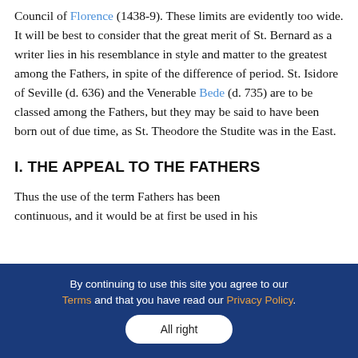Council of Florence (1438-9). These limits are evidently too wide. It will be best to consider that the great merit of St. Bernard as a writer lies in his resemblance in style and matter to the greatest among the Fathers, in spite of the difference of period. St. Isidore of Seville (d. 636) and the Venerable Bede (d. 735) are to be classed among the Fathers, but they may be said to have been born out of due time, as St. Theodore the Studite was in the East.
I. THE APPEAL TO THE FATHERS
Thus the use of the term Fathers has been continuous, and it would be at first be used in his...
By continuing to use this site you agree to our Terms and that you have read our Privacy Policy.
All right